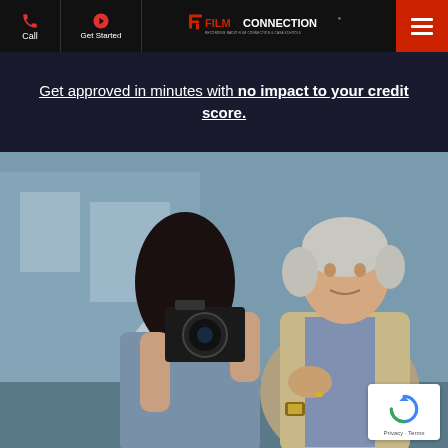Call | Get Started | FILM CONNECTION® | [menu]
Get approved in minutes with no impact to your credit score.
[Figure (photo): A young woman with dark hair uses a film camera outdoors while an older man in a beige blazer gestures and speaks to her, with a modern building visible in the background.]
[Figure (other): reCAPTCHA badge with Privacy and Terms links]